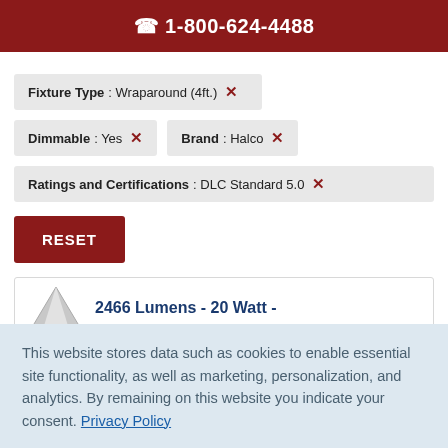☎ 1-800-624-4488
Fixture Type : Wraparound (4ft.) ✕
Dimmable : Yes ✕
Brand : Halco ✕
Ratings and Certifications : DLC Standard 5.0 ✕
RESET
2466 Lumens - 20 Watt -
This website stores data such as cookies to enable essential site functionality, as well as marketing, personalization, and analytics. By remaining on this website you indicate your consent. Privacy Policy